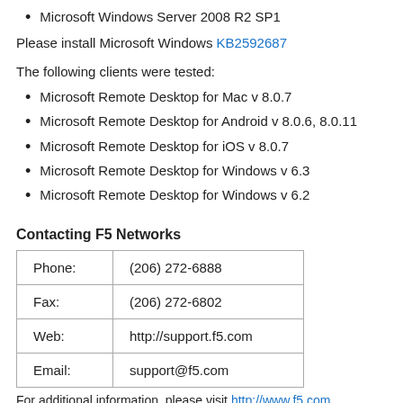Microsoft Windows Server 2008 R2 SP1
Please install Microsoft Windows KB2592687
The following clients were tested:
Microsoft Remote Desktop for Mac v 8.0.7
Microsoft Remote Desktop for Android v 8.0.6, 8.0.11
Microsoft Remote Desktop for iOS v 8.0.7
Microsoft Remote Desktop for Windows v 6.3
Microsoft Remote Desktop for Windows v 6.2
Contacting F5 Networks
|  |  |
| --- | --- |
| Phone: | (206) 272-6888 |
| Fax: | (206) 272-6802 |
| Web: | http://support.f5.com |
| Email: | support@f5.com |
For additional information, please visit http://www.f5.com